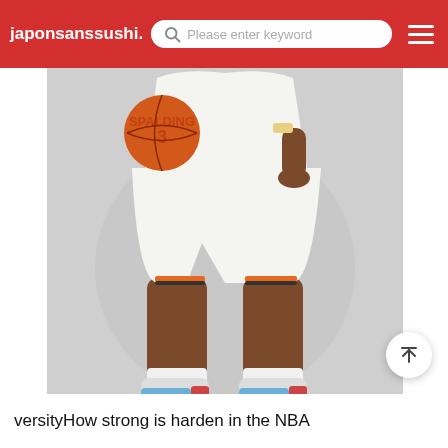japonsanssushi.  Please enter keyword
[Figure (photo): Basketball player in white OKC Thunder uniform holding a Spalding basketball, showing torso and legs, wearing blue and white sneakers, with a light grey studio background]
versityHow strong is harden in the NBA